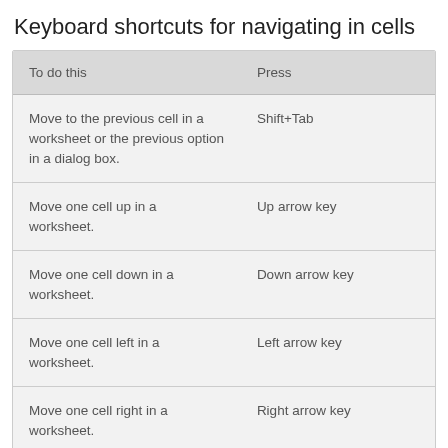Keyboard shortcuts for navigating in cells
| To do this | Press |
| --- | --- |
| Move to the previous cell in a worksheet or the previous option in a dialog box. | Shift+Tab |
| Move one cell up in a worksheet. | Up arrow key |
| Move one cell down in a worksheet. | Down arrow key |
| Move one cell left in a worksheet. | Left arrow key |
| Move one cell right in a worksheet. | Right arrow key |